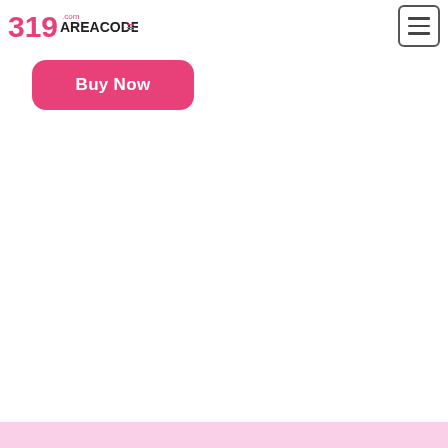[Figure (logo): 319 Area Code .com logo with pink numerals and dark text]
[Figure (other): Hamburger menu icon button with three horizontal lines inside a rounded square border]
Buy Now